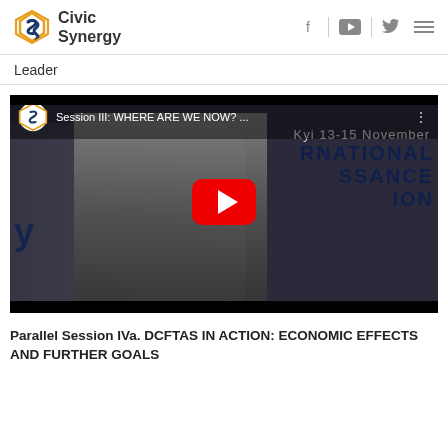Civic Synergy
Leader
[Figure (screenshot): YouTube video thumbnail showing a woman with dark hair holding a microphone at a conference. Title overlay reads 'Session III: WHERE ARE WE NOW? ...' with '13-15 November' visible in background. Background text shows 'INTERNATIONAL SSANCE TION'. Civic Synergy logo visible in top-left of thumbnail. Red YouTube play button in center.]
Parallel Session IVa. DCFTAS IN ACTION: ECONOMIC EFFECTS AND FURTHER GOALS